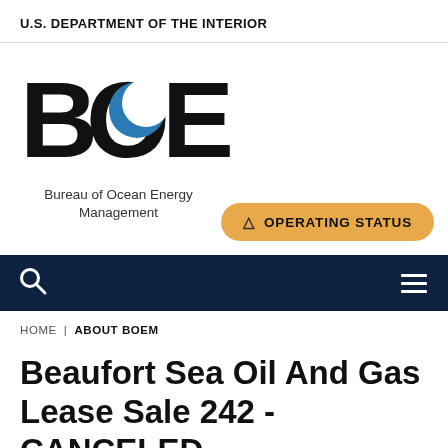U.S. DEPARTMENT OF THE INTERIOR
[Figure (logo): BOEM Bureau of Ocean Energy Management logo with large stylized letters B O E M and a blue crescent moon inside the O, followed by tagline 'Bureau of Ocean Energy Management']
⚠ OPERATING STATUS
HOME | ABOUT BOEM
Beaufort Sea Oil And Gas Lease Sale 242 - CANCELED